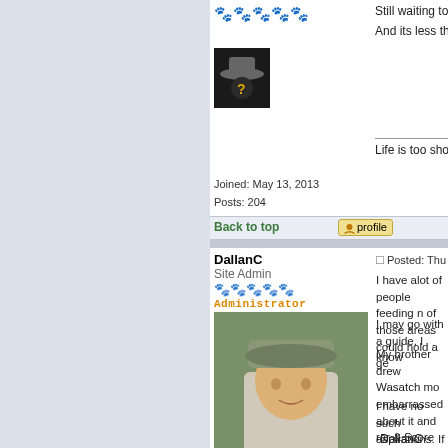Still waiting to draw that one.
And its less than an hour from
Life is too short to carry an ug
Joined: May 13, 2013
Posts: 204
Back to top
DallanC
Site Admin
Administrator
Posted: Thu May 19, 2022 11:52
I have alot of people feeding n of those areas could hold a ge
I may go with a guide, I know
My brother drew Wasatch mo embarrassed about it and rar & Score mentality" today. Han
I have no such aspirations. If Accubonds at 3200fps. They'v
-DallanC
Joined: Jan 18, 2005
Posts: 3492
Location: Utah
Back to top
Elvis
Super Member
Posted: Fri May 20, 2022 9:32 p